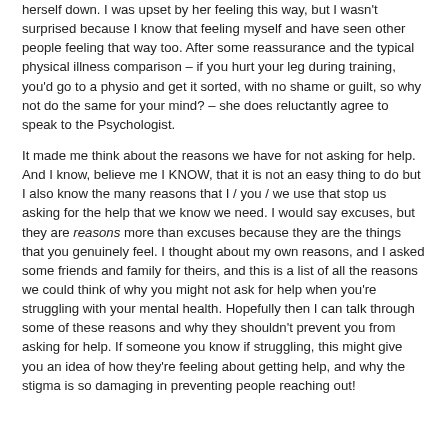herself down. I was upset by her feeling this way, but I wasn't surprised because I know that feeling myself and have seen other people feeling that way too. After some reassurance and the typical physical illness comparison – if you hurt your leg during training, you'd go to a physio and get it sorted, with no shame or guilt, so why not do the same for your mind? – she does reluctantly agree to speak to the Psychologist.
It made me think about the reasons we have for not asking for help. And I know, believe me I KNOW, that it is not an easy thing to do but I also know the many reasons that I / you / we use that stop us asking for the help that we know we need. I would say excuses, but they are reasons more than excuses because they are the things that you genuinely feel. I thought about my own reasons, and I asked some friends and family for theirs, and this is a list of all the reasons we could think of why you might not ask for help when you're struggling with your mental health. Hopefully then I can talk through some of these reasons and why they shouldn't prevent you from asking for help. If someone you know if struggling, this might give you an idea of how they're feeling about getting help, and why the stigma is so damaging in preventing people reaching out!